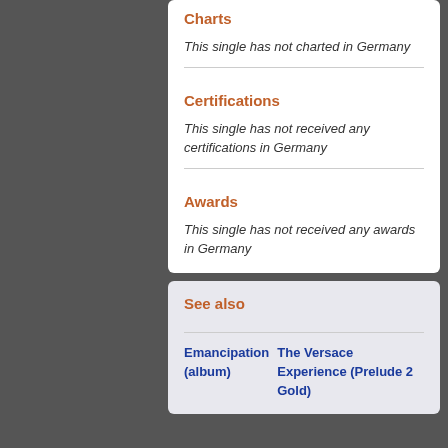Charts
This single has not charted in Germany
Certifications
This single has not received any certifications in Germany
Awards
This single has not received any awards in Germany
See also
Emancipation (album)
The Versace Experience (Prelude 2 Gold)